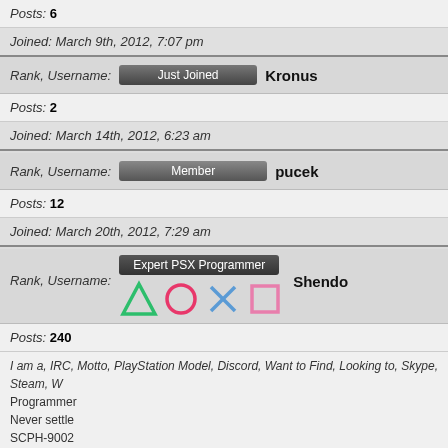Posts: 6
Joined: March 9th, 2012, 7:07 pm
Rank, Username: Just Joined  Kronus
Posts: 2
Joined: March 14th, 2012, 6:23 am
Rank, Username: Member  pucek
Posts: 12
Joined: March 20th, 2012, 7:29 am
Rank, Username: Expert PSX Programmer  Shendo
Posts: 240
I am a, IRC, Motto, PlayStation Model, Discord, Want to Find, Looking to, Skype, Steam, W Programmer
Never settle
SCPH-9002
Croatia, EU
Joined: March 21st, 2012, 4:34 am
Rank, Username: Serious Member  bizarro2011